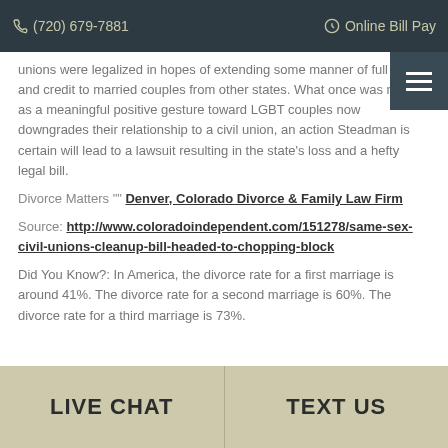(720) 679-7881   Online Bill Pay
unions were legalized in hopes of extending some manner of full faith and credit to married couples from other states. What once was meant as a meaningful positive gesture toward LGBT couples now downgrades their relationship to a civil union, an action Steadman is certain will lead to a lawsuit resulting in the state's loss and a hefty legal bill.
Divorce Matters "" Denver, Colorado Divorce & Family Law Firm
Source: http://www.coloradoindependent.com/151278/same-sex-civil-unions-cleanup-bill-headed-to-chopping-block
Did You Know?: In America, the divorce rate for a first marriage is around 41%. The divorce rate for a second marriage is 60%. The divorce rate for a third marriage is 73%.
LIVE CHAT   TEXT US